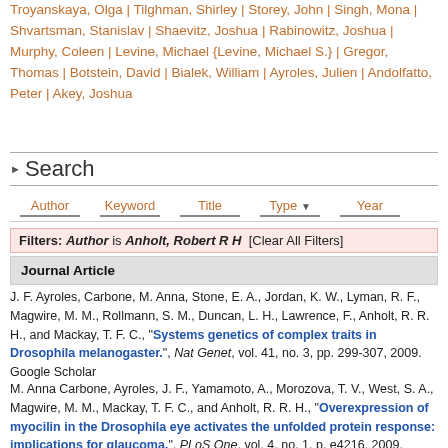Troyanskaya, Olga | Tilghman, Shirley | Storey, John | Singh, Mona | Shvartsman, Stanislav | Shaevitz, Joshua | Rabinowitz, Joshua | Murphy, Coleen | Levine, Michael {Levine, Michael S.} | Gregor, Thomas | Botstein, David | Bialek, William | Ayroles, Julien | Andolfatto, Peter | Akey, Joshua
Search
Author   Keyword   Title   Type▼   Year
Filters: Author is Anholt, Robert R H  [Clear All Filters]
Journal Article
J. F. Ayroles, Carbone, M. Anna, Stone, E. A., Jordan, K. W., Lyman, R. F., Magwire, M. M., Rollmann, S. M., Duncan, L. H., Lawrence, F., Anholt, R. R. H., and Mackay, T. F. C., "Systems genetics of complex traits in Drosophila melanogaster.", Nat Genet, vol. 41, no. 3, pp. 299-307, 2009. Google Scholar
M. Anna Carbone, Ayroles, J. F., Yamamoto, A., Morozova, T. V., West, S. A., Magwire, M. M., Mackay, T. F. C., and Anholt, R. R. H., "Overexpression of myocilin in the Drosophila eye activates the unfolded protein response: implications for glaucoma.", PLoS One, vol. 4, no. 1, p. e4216, 2009. Google Scholar